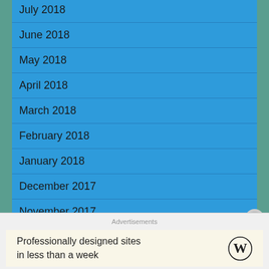July 2018
June 2018
May 2018
April 2018
March 2018
February 2018
January 2018
December 2017
November 2017
October 2017
September 2017
Advertisements
Professionally designed sites in less than a week